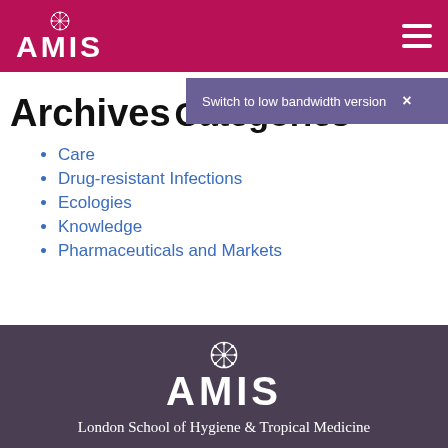AMIS
Archives
Switch to low bandwidth version ×
Categories
Care
Drug-resistant Infections
Ecologies
Knowledge
Pharmaceuticals and Markets
AMIS
London School of Hygiene & Tropical Medicine